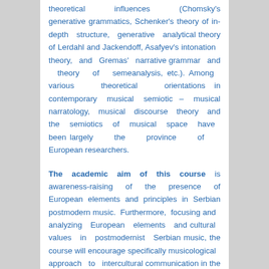theoretical influences (Chomsky's generative grammatics, Schenker's theory of in-depth structure, generative analytical theory of Lerdahl and Jackendoff, Asafyev's intonation theory, and Gremas' narrative grammar and theory of semeanalysis, etc.). Among various theoretical orientations in contemporary musical semiotic – musical narratology, musical discourse theory and the semiotics of musical space have been largely the province of European researchers.
The academic aim of this course is awareness-raising of the presence of European elements and principles in Serbian postmodern music. Furthermore, focusing and analyzing European elements and cultural values in postmodernist Serbian music, the course will encourage specifically musicological approach to intercultural communication in the process of European...